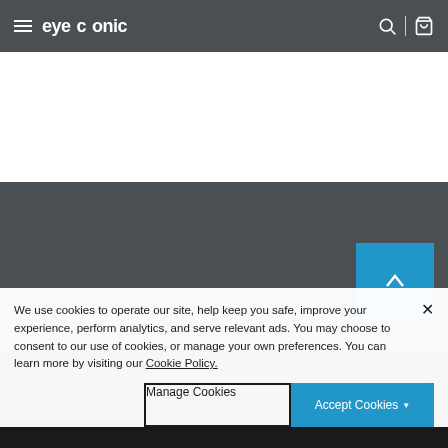eyeconic
[Figure (screenshot): White content area below navigation bar]
[Figure (screenshot): Dark gray section with blue scroll-to-top button containing chevron up icon]
THE EYECONIC EDGE
MY ACCOUNT
We use cookies to operate our site, help keep you safe, improve your experience, perform analytics, and serve relevant ads. You may choose to consent to our use of cookies, or manage your own preferences. You can learn more by visiting our Cookie Policy.
Manage Cookies
Accept Cookies
HELP ME